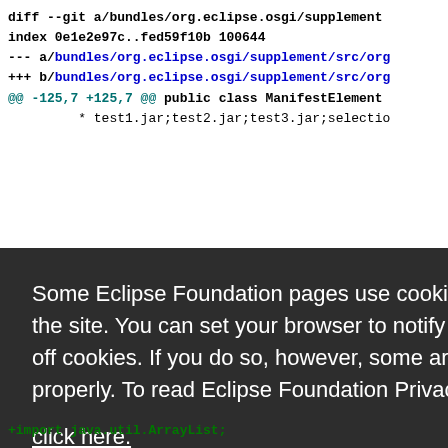diff --git a/bundles/org.eclipse.osgi/supplement...
index 0e1e2e97c..fed59f10b 100644
--- a/bundles/org.eclipse.osgi/supplement/src/org...
+++ b/bundles/org.eclipse.osgi/supplement/src/org...
@@ -125,7 +125,7 @@ public class ManifestElement
 * test1.jar;test2.jar;test3.jar;selectio...
Some Eclipse Foundation pages use cookies to better serve you when you return to the site. You can set your browser to notify you before you receive a cookie or turn off cookies. If you do so, however, some areas of some sites may not function properly. To read Eclipse Foundation Privacy Policy click here.
Decline | Allow cookies
+import java.util.ArrayList;